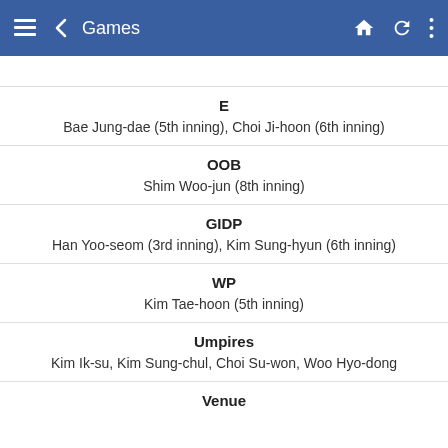Games
E
Bae Jung-dae (5th inning), Choi Ji-hoon (6th inning)
OOB
Shim Woo-jun (8th inning)
GIDP
Han Yoo-seom (3rd inning), Kim Sung-hyun (6th inning)
WP
Kim Tae-hoon (5th inning)
Umpires
Kim Ik-su, Kim Sung-chul, Choi Su-won, Woo Hyo-dong
Venue